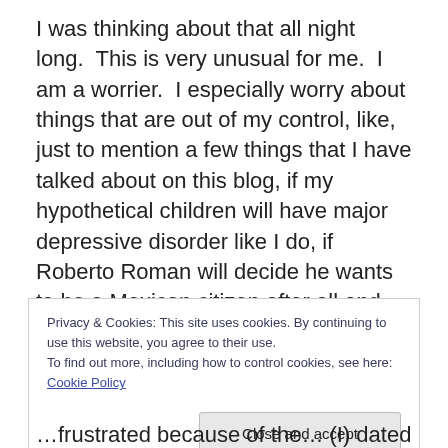I was thinking about that all night long.  This is very unusual for me.  I am a worrier.  I especially worry about things that are out of my control, like, just to mention a few things that I have talked about on this blog, if my hypothetical children will have major depressive disorder like I do, if Roberto Roman will decide he wants to be a Mexican citizen after all and cause a huge international incident, if my kneecap is broken and I don't have money to go to the doctor to get it checked out, if anybody reads and enjoys this blog… well, you get the picture.
Privacy & Cookies: This site uses cookies. By continuing to use this website, you agree to their use.
To find out more, including how to control cookies, see here: Cookie Policy
Close and accept
…frustrated because of the… (I) dated it to get a cleaner, still…